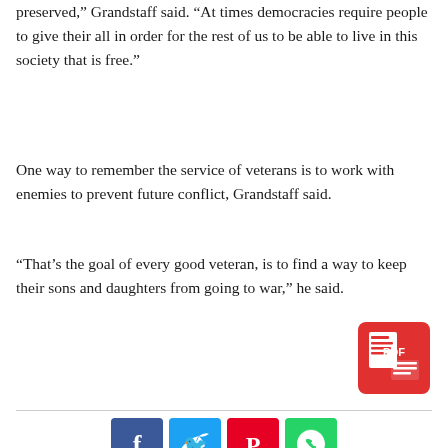preserved,” Grandstaff said. “At times democracies require people to give their all in order for the rest of us to be able to live in this society that is free.”
One way to remember the service of veterans is to work with enemies to prevent future conflict, Grandstaff said.
“That’s the goal of every good veteran, is to find a way to keep their sons and daughters from going to war,” he said.
[Figure (other): Red PDF icon button]
[Figure (other): Social media sharing buttons: Facebook, Twitter, Pinterest, WhatsApp, Email]